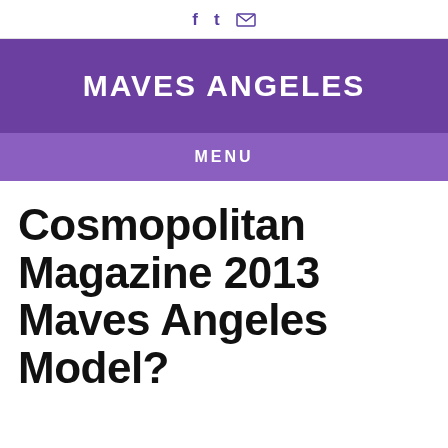f t [mail]
MAVES ANGELES
MENU
Cosmopolitan Magazine 2013 Maves Angeles Model?